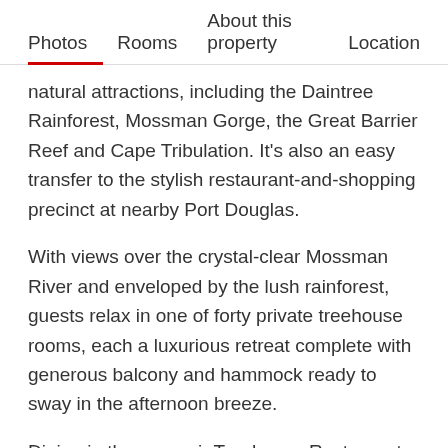Photos  Rooms  About this property  Location
natural attractions, including the Daintree Rainforest, Mossman Gorge, the Great Barrier Reef and Cape Tribulation. It's also an easy transfer to the stylish restaurant-and-shopping precinct at nearby Port Douglas.
With views over the crystal-clear Mossman River and enveloped by the lush rainforest, guests relax in one of forty private treehouse rooms, each a luxurious retreat complete with generous balcony and hammock ready to sway in the afternoon breeze.
Dining in the open-air Treehouse Restaurant welcomes the sights and sounds of the rainforest, creating an extraordinary backdrop for enjoying